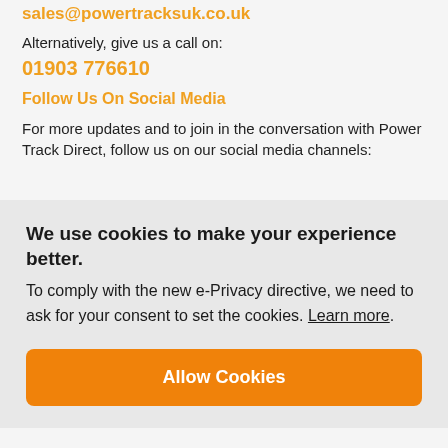sales@powertracksuk.co.uk
Alternatively, give us a call on:
01903 776610
Follow Us On Social Media
For more updates and to join in the conversation with Power Track Direct, follow us on our social media channels:
We use cookies to make your experience better. To comply with the new e-Privacy directive, we need to ask for your consent to set the cookies. Learn more.
Allow Cookies